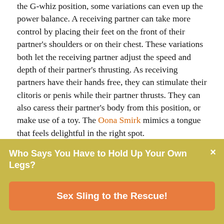the G-whiz position, some variations can even up the power balance. A receiving partner can take more control by placing their feet on the front of their partner's shoulders or on their chest. These variations both let the receiving partner adjust the speed and depth of their partner's thrusting. As receiving partners have their hands free, they can stimulate their clitoris or penis while their partner thrusts. They can also caress their partner's body from this position, or make use of a toy. The Oona Smirk mimics a tongue that feels delightful in the right spot.
Advertisement
[Figure (photo): Advertisement image showing colorful sex toys on a warm orange/pink background]
Who Says You Have to Hold Up Your Own Legs?
Sex Sling to the Rescue!